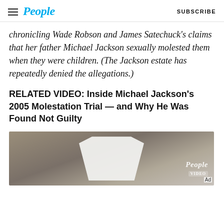People | SUBSCRIBE
chronicling Wade Robson and James Satechuck's claims that her father Michael Jackson sexually molested them when they were children. (The Jackson estate has repeatedly denied the allegations.)
RELATED VIDEO: Inside Michael Jackson’s 2005 Molestation Trial — and Why He Was Found Not Guilty
[Figure (photo): Video thumbnail showing a person in a white shirt, with People video watermark and Ad label in bottom right]